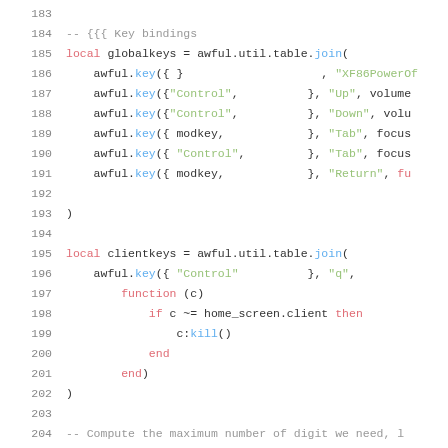[Figure (screenshot): Lua source code lines 183-205 showing key bindings configuration using awful.key() calls, globalkeys and clientkeys table definitions]